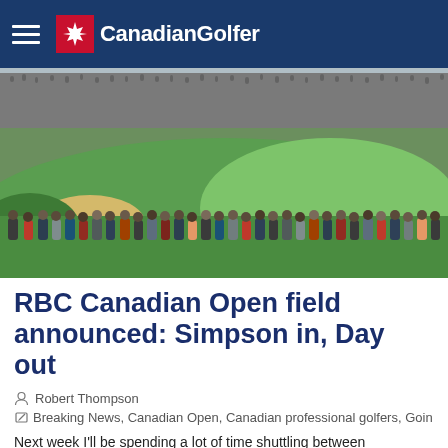CanadianGolfer
[Figure (photo): Golf course scene with a large crowd of spectators walking along a fairway with sand bunkers and green grass; more spectators visible in the background stands]
RBC Canadian Open field announced: Simpson in, Day out
Robert Thompson
Breaking News, Canadian Open, Canadian professional golfers, Goin
Next week I'll be spending a lot of time shuttling between